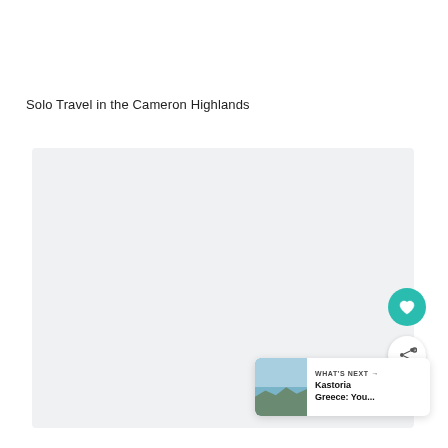Solo Travel in the Cameron Highlands
[Figure (photo): Large image placeholder area with light gray background, representing a travel photo for Cameron Highlands article]
[Figure (other): Circular teal button with heart icon (favorite/like button)]
[Figure (other): Circular white button with share/network icon]
[Figure (other): What's Next card showing a thumbnail image of Kastoria Greece landscape with text 'WHAT'S NEXT → Kastoria Greece: You...']